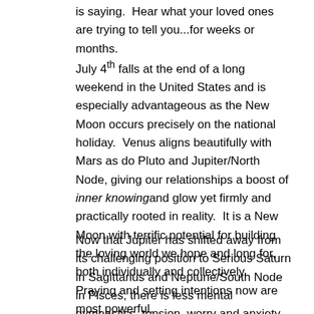is saying.  Hear what your loved ones are trying to tell you...for weeks or months.
July 4th falls at the end of a long weekend in the United States and is especially advantageous as the New Moon occurs precisely on the national holiday.  Venus aligns beautifully with Mars as do Pluto and Jupiter/North Node, giving our relationships a boost of inner knowing and glow yet firmly and practically rooted in reality.  It is a New Moon with terrific potential for building the loving world we hope and long for, both individually and collectively.  Praying and setting intentions now are most powerful.
Now that Jupiter has shifted away from its challenging position to Serious Saturn in Sagittarius and Neptune/South Node in Pisces, there is less mental gymnastics, tension, worry and anxiety.  However, Saturn and Neptune are still dueling:  Saturn demands truth and justice while Neptune/South Node cleanse and clear away